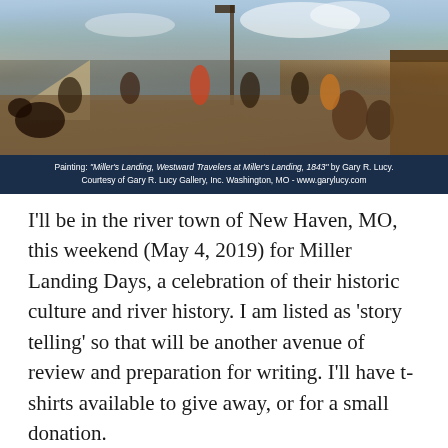[Figure (illustration): Historical painting depicting a busy river landing scene with travelers, workers, barrels, horses, and a steamboat in the background.]
Painting: "Miller's Landing, Westward Travelers at Miller's Landing, 1843" by Gary R. Lucy. Courtesy of Gary R. Lucy Gallery, Inc. Washington, MO - www.garylucy.com
I'll be in the river town of New Haven, MO, this weekend (May 4, 2019) for Miller Landing Days, a celebration of their historic culture and river history. I am listed as 'story telling' so that will be another avenue of review and preparation for writing. I'll have t-shirts available to give away, or for a small donation.
I hope to share my progress on this LoveYourBigMuddy blog, as followers, it means I can review and keep up to date.